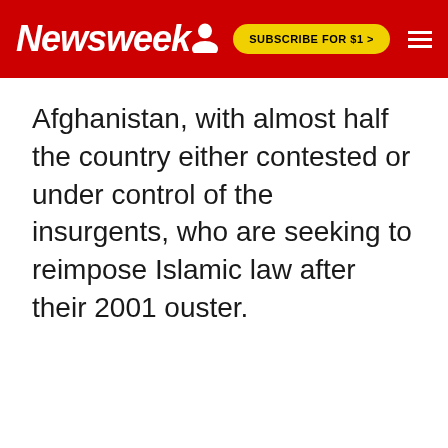Newsweek | SUBSCRIBE FOR $1 >
Afghanistan, with almost half the country either contested or under control of the insurgents, who are seeking to reimpose Islamic law after their 2001 ouster.